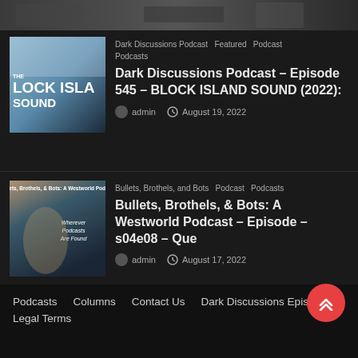[Figure (photo): Dark banner image at top of page]
Dark Discussions Podcast  Featured  Podcast  Podcasts
Dark Discussions Podcast – Episode 545 – BLOCK ISLAND SOUND (2022):
admin  August 19, 2022
Bullets, Brothels, and Bots  Podcast  Podcasts
Bullets, Brothels, & Bots: A Westworld Podcast – Episode – s04e08 – Que
admin  August 17, 2022
Podcasts   Columns   Contact Us   Dark Discussions Epis…   Legal Terms